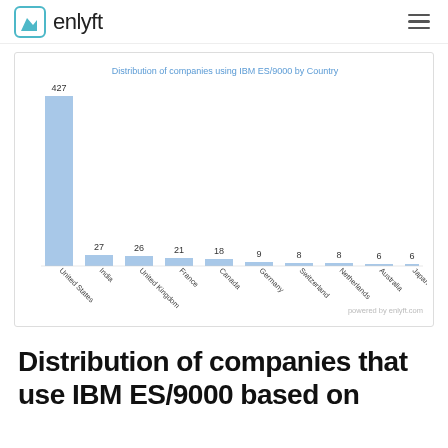enlyft
[Figure (bar-chart): Distribution of companies using IBM ES/9000 by Country]
Distribution of companies that use IBM ES/9000 based on